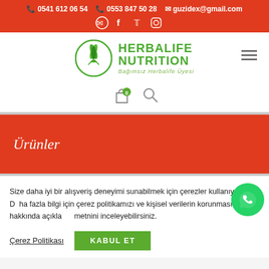📞 0541 612 06 54  📞 0553 847 50 28  ✉ guzidex@gmail.com  WhatsApp Facebook Twitter Instagram
[Figure (logo): Herbalife Nutrition logo with green leaf emblem and text 'HERBALIFE NUTRITION - Bağımsız Herbalife Üyesi']
[Figure (infographic): Shopping cart icon with green badge showing 0, and search icon]
Ürünler
Size daha iyi bir alışveriş deneyimi sunabilmek için çerezler kullanıyoruz. Daha fazla bilgi için çerez politikamızı ve kişisel verilerin korunması hakkında açıklama metnini inceleyebilirsiniz.
Çerez Politikası   KABUL ET